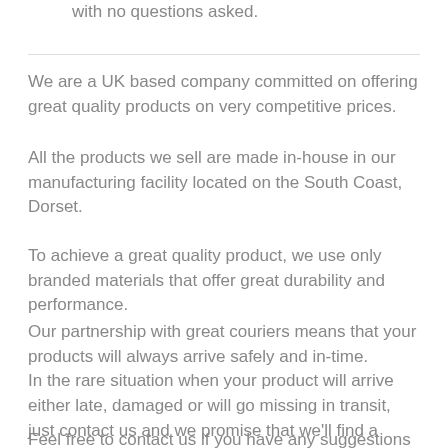with no questions asked.
We are a UK based company committed on offering great quality products on very competitive prices.
All the products we sell are made in-house in our manufacturing facility located on the South Coast, Dorset.
To achieve a great quality product, we use only branded materials that offer great durability and performance.
Our partnership with great couriers means that your products will always arrive safely and in-time.
In the rare situation when your product will arrive either late, damaged or will go missing in transit, just contact us and we promise that we'll find a solution that will please you.
Feel free to contact us if you have any suggestions on